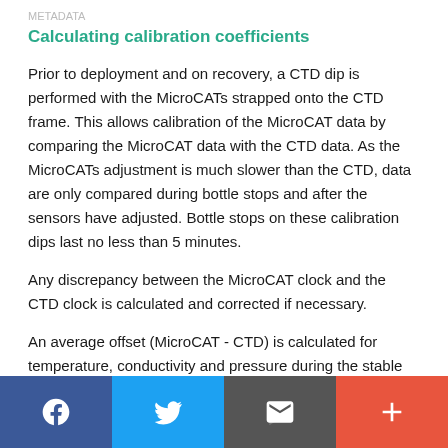METADATA
Calculating calibration coefficients
Prior to deployment and on recovery, a CTD dip is performed with the MicroCATs strapped onto the CTD frame. This allows calibration of the MicroCAT data by comparing the MicroCAT data with the CTD data. As the MicroCATs adjustment is much slower than the CTD, data are only compared during bottle stops and after the sensors have adjusted. Bottle stops on these calibration dips last no less than 5 minutes.
Any discrepancy between the MicroCAT clock and the CTD clock is calculated and corrected if necessary.
An average offset (MicroCAT - CTD) is calculated for temperature, conductivity and pressure during the stable